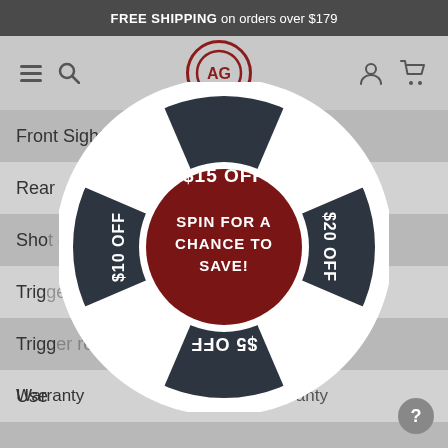FREE SHIPPING on orders over $179
[Figure (screenshot): Navigation bar with hamburger menu, search icon, AG logo, user icon, and cart icon]
Front Sigh
Rear
Sho
Trig
Trigg
Use
[Figure (infographic): Spin wheel promotional overlay showing four segments: $15 OFF (top), $20 OFF (right), $5 OFF (bottom, upside down), $10 OFF (left). Center circle in dark red reads SPIN FOR A CHANCE TO SAVE!]
Warranty    1-year limited warranty